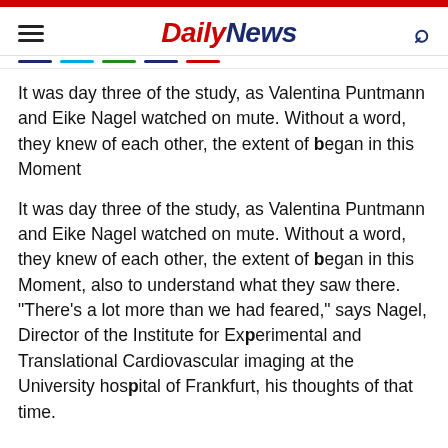Daily News
It was day three of the study, as Valentina Puntmann and Eike Nagel watched on mute. Without a word, they knew of each other, the extent of began in this Moment
It was day three of the study, as Valentina Puntmann and Eike Nagel watched on mute. Without a word, they knew of each other, the extent of began in this Moment, also to understand what they saw there. "There's a lot more than we had feared," says Nagel, Director of the Institute for Experimental and Translational Cardiovascular imaging at the University hospital of Frankfurt, his thoughts of that time.